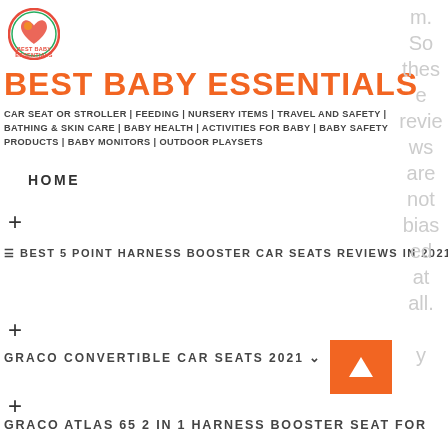[Figure (logo): Colorful circular logo with heart shape for Best Baby Essentials website]
BEST BABY ESSENTIALS
CAR SEAT OR STROLLER | FEEDING | NURSERY ITEMS | TRAVEL AND SAFETY | BATHING & SKIN CARE | BABY HEALTH | ACTIVITIES FOR BABY | BABY SAFETY PRODUCTS | BABY MONITORS | OUTDOOR PLAYSETS
HOME
+
☰ BEST 5 POINT HARNESS BOOSTER CAR SEATS REVIEWS IN 2021 ∨
+
GRACO CONVERTIBLE CAR SEATS 2021 ∨
+
GRACO ATLAS 65 2 IN 1 HARNESS BOOSTER SEAT FOR
m. So these reviews are not biased at all. y